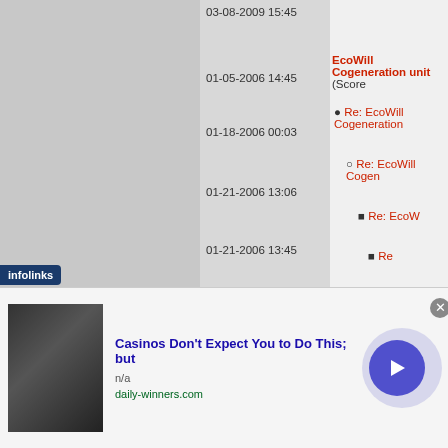03-08-2009 15:45
01-05-2006 14:45  EcoWill Cogeneration unit  (Score...
01-18-2006 00:03  • Re: EcoWill Cogeneration
01-21-2006 13:06  ○ Re: EcoWill Cogen
01-21-2006 13:45  ■ Re: EcoW
01-21-2006 20:26  ■ Re
02-18-2006 17:38
09-15-2008 17:44  • Re: EcoWill Cogeneration
05-23-2008 15:22  Honda lawnmower  (Score: 1, Nor...
05-23-2008 15:27  • Re: Honda lawnmower  (S...
05-23-2008 16:25  ○ Re: Honda lawnm...
infolinks
Casinos Don't Expect You to Do This; but
n/a
daily-winners.com